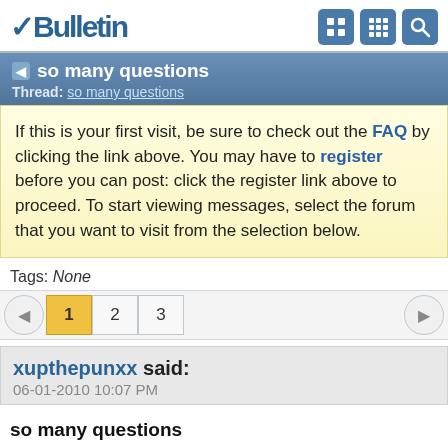vBulletin
so many questions
Thread: so many questions
If this is your first visit, be sure to check out the FAQ by clicking the link above. You may have to register before you can post: click the register link above to proceed. To start viewing messages, select the forum that you want to visit from the selection below.
Tags: None
1 2 3
xupthepunxx said:
06-01-2010 10:07 PM
so many questions
After careful and long pondering I have decided living an